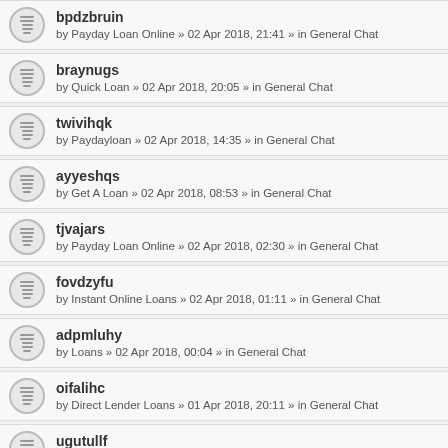bpdzbruin
by Payday Loan Online » 02 Apr 2018, 21:41 » in General Chat
braynugs
by Quick Loan » 02 Apr 2018, 20:05 » in General Chat
twivihqk
by Paydayloan » 02 Apr 2018, 14:35 » in General Chat
ayyeshqs
by Get A Loan » 02 Apr 2018, 08:53 » in General Chat
tjvajars
by Payday Loan Online » 02 Apr 2018, 02:30 » in General Chat
fovdzyfu
by Instant Online Loans » 02 Apr 2018, 01:11 » in General Chat
adpmluhy
by Loans » 02 Apr 2018, 00:04 » in General Chat
oifalihc
by Direct Lender Loans » 01 Apr 2018, 20:11 » in General Chat
ugutullf
by Instant Online Loans » 01 Apr 2018, 19:57 » in General Chat